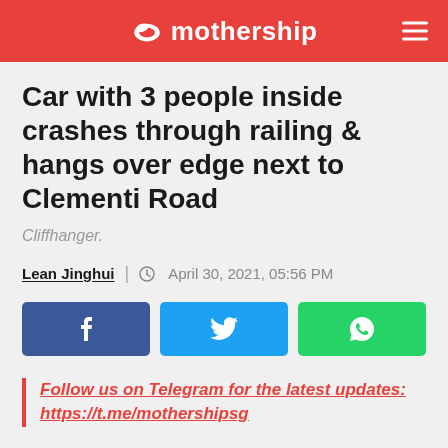mothership
Car with 3 people inside crashes through railing & hangs over edge next to Clementi Road
Cliffhanger.
Lean Jinghui | April 30, 2021, 05:56 PM
[Figure (other): Social sharing buttons: Facebook, Twitter, WhatsApp]
Follow us on Telegram for the latest updates: https://t.me/mothershipsg